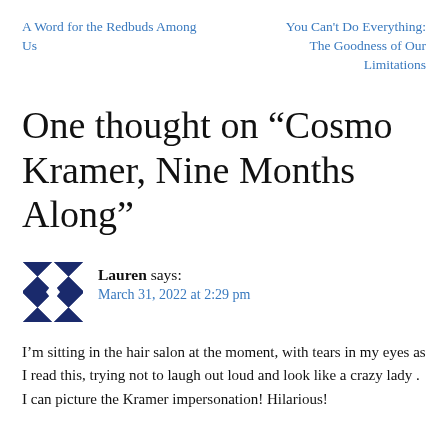A Word for the Redbuds Among Us
You Can't Do Everything: The Goodness of Our Limitations
One thought on “Cosmo Kramer, Nine Months Along”
Lauren says:
March 31, 2022 at 2:29 pm
I’m sitting in the hair salon at the moment, with tears in my eyes as I read this, trying not to laugh out loud and look like a crazy lady . I can picture the Kramer impersonation! Hilarious!